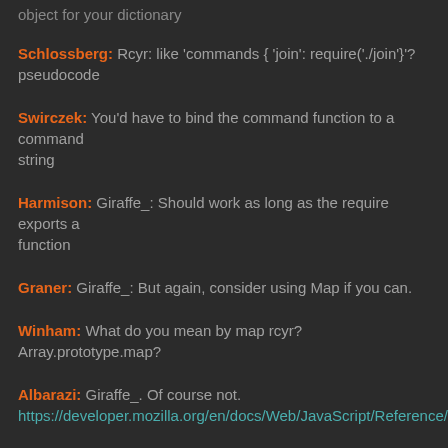object for your dictionary
Schlossberg: Rcyr: like 'commands { 'join': require('./join'}'? pseudocode
Swirczek: You'd have to bind the command function to a command string
Harmison: Giraffe_: Should work as long as the require exports a function
Graner: Giraffe_: But again, consider using Map if you can.
Winham: What do you mean by map rcyr? Array.prototype.map?
Albarazi: Giraffe_. Of course not. https://developer.mozilla.org/en/docs/Web/JavaScript/Reference/Glob
Deluney: Didnt think so; didnt see that anywhere
Chuc: It's fairly new, part of ES6
Krangh: ...